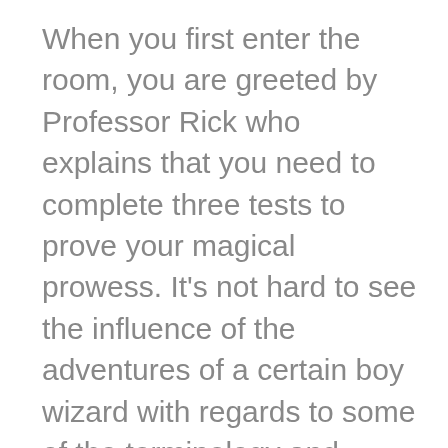When you first enter the room, you are greeted by Professor Rick who explains that you need to complete three tests to prove your magical prowess. It's not hard to see the influence of the adventures of a certain boy wizard with regards to some of the terminology and design choices in the room. Broomsticks, spellbooks, pictures of wizards and mysterious bottles filled with more mysterious ingredients all decorate the room. Puzzles are a combination of traditional padlocks, maglocks and